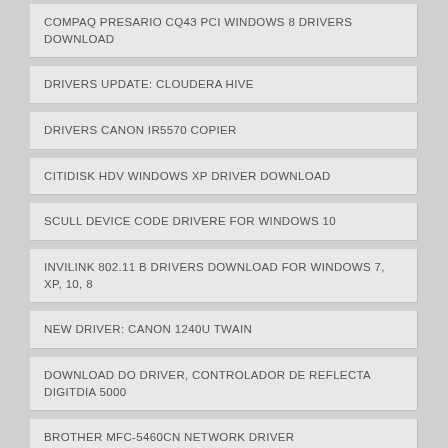COMPAQ PRESARIO CQ43 PCI WINDOWS 8 DRIVERS DOWNLOAD
DRIVERS UPDATE: CLOUDERA HIVE
DRIVERS CANON IR5570 COPIER
CITIDISK HDV WINDOWS XP DRIVER DOWNLOAD
SCULL DEVICE CODE DRIVERE FOR WINDOWS 10
INVILINK 802.11 B DRIVERS DOWNLOAD FOR WINDOWS 7, XP, 10, 8
NEW DRIVER: CANON 1240U TWAIN
DOWNLOAD DO DRIVER, CONTROLADOR DE REFLECTA DIGITDIA 5000
BROTHER MFC-5460CN NETWORK DRIVER